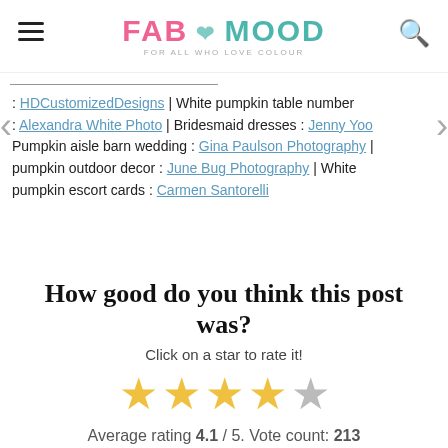FAB MOOD — For all who love colour
: HDCustomizedDesigns | White pumpkin table number : Alexandra White Photo | Bridesmaid dresses : Jenny Yoo Pumpkin aisle barn wedding : Gina Paulson Photography | pumpkin outdoor decor : June Bug Photography | White pumpkin escort cards : Carmen Santorelli
How good do you think this post was?
Click on a star to rate it!
[Figure (other): 5-star rating widget showing 4 gold stars and 1 grey star]
Average rating 4.1 / 5. Vote count: 213